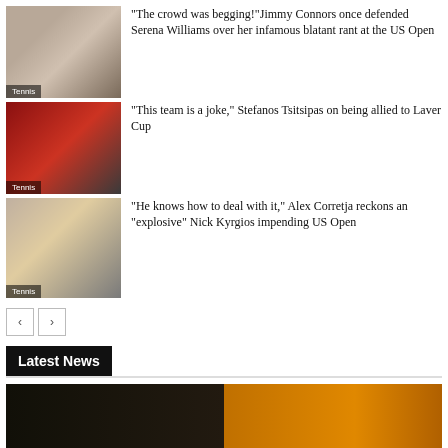[Figure (photo): Thumbnail of Jimmy Connors and Serena Williams with Tennis label]
“The crowd was begging!”Jimmy Connors once defended Serena Williams over her infamous blatant rant at the US Open
[Figure (photo): Thumbnail of Stefanos Tsitsipas with Tennis label]
“This team is a joke,” Stefanos Tsitsipas on being allied to Laver Cup
[Figure (photo): Thumbnail of Alex Corretja and Nick Kyrgios with Tennis label]
“He knows how to deal with it,” Alex Corretja reckons an “explosive” Nick Kyrgios impending US Open
Latest News
[Figure (photo): Bottom image showing sports scene with orange element]